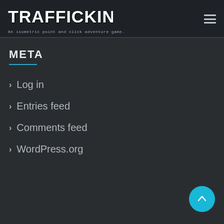TRAFFICKING – An isometric point and click adventure game.
META
Log in
Entries feed
Comments feed
WordPress.org